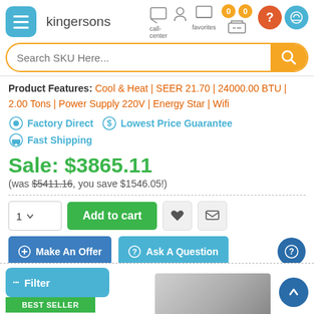[Figure (screenshot): E-commerce website header with hamburger menu, kingersons logo, call center icon, user icon, favorites icon, badges showing 0, cart icon, and search bar with orange border]
Product Features: Cool & Heat | SEER 21.70 | 24000.00 BTU | 2.00 Tons | Power Supply 220V | Energy Star | Wifi
Factory Direct   Lowest Price Guarantee   Fast Shipping
Sale: $3865.11
(was $5411.16, you save $1546.05!)
1  Add to cart  [heart]  [email]
Make An Offer   Ask A Question
Filter   BEST SELLER